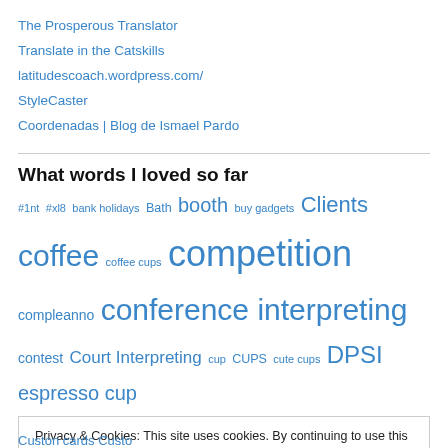The Prosperous Translator
Translate in the Catskills
latitudescoach.wordpress.com/
StyleCaster
Coordenadas | Blog de Ismael Pardo
What words I loved so far
#1nt #xl8 bank holidays Bath booth buy gadgets Clients coffee coffee cups competition compleanno conference interpreting contest Court Interpreting cup CUPS cute cups DPSI espresso cup
Privacy & Cookies: This site uses cookies. By continuing to use this website, you agree to their use.
To find out more, including how to control cookies, see here: Cookie Policy
Close and accept
Custon cards Custo